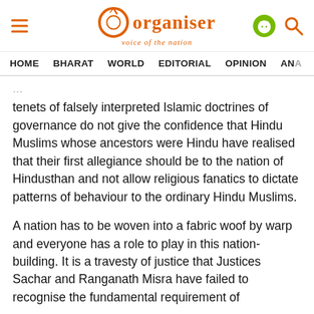Organiser – voice of the nation
HOME  BHARAT  WORLD  EDITORIAL  OPINION  ANA
tenets of falsely interpreted Islamic doctrines of governance do not give the confidence that Hindu Muslims whose ancestors were Hindu have realised that their first allegiance should be to the nation of Hindusthan and not allow religious fanatics to dictate patterns of behaviour to the ordinary Hindu Muslims.
A nation has to be woven into a fabric woof by warp and everyone has a role to play in this nation-building. It is a travesty of justice that Justices Sachar and Ranganath Misra have failed to recognise the fundamental requirement of